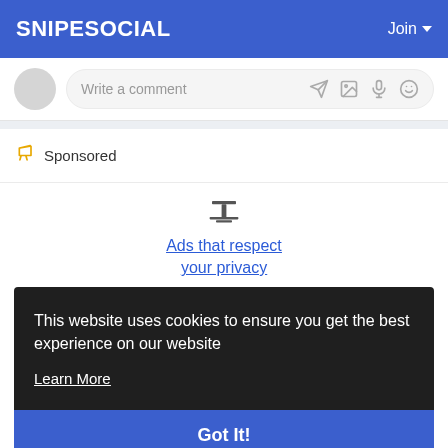SNIPESOCIAL   Join
Write a comment
📣 Sponsored
[Figure (screenshot): Privacy-preserving ad logo icon above link text]
Ads that respect your privacy
This website uses cookies to ensure you get the best experience on our website
Learn More
Got It!